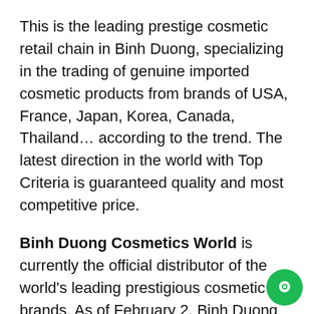This is the leading prestige cosmetic retail chain in Binh Duong, specializing in the trading of genuine imported cosmetic products from brands of USA, France, Japan, Korea, Canada, Thailand… according to the trend. The latest direction in the world with Top Criteria is guaranteed quality and most competitive price.
Binh Duong Cosmetics World is currently the official distributor of the world's leading prestigious cosmetic brands. As of February 2, Binh Duong Cosmetics World is the official distributor of 2017 top quality and famous brands in the world cosmetics industry today, namely: Vichy, La Roche Posay, Avène, Bioderma, Evoluderm, St. Ives, Senka, Benton, Secret Key and Christian Lenart, Jonzac, Chateau Rouge…
After more than 5 years of operation, Binh Duong Cosmetics World has created a foothold in the Binh Duong